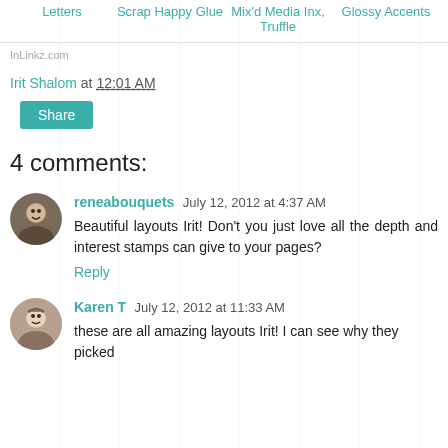Letters   Scrap Happy Glue   Mix'd Media Inx, Truffle   Glossy Accents
InLinkz.com
Irit Shalom at 12:01 AM
Share
4 comments:
reneabouquets  July 12, 2012 at 4:37 AM
Beautiful layouts Irit! Don't you just love all the depth and interest stamps can give to your pages?
Reply
Karen T  July 12, 2012 at 11:33 AM
these are all amazing layouts Irit! I can see why they picked